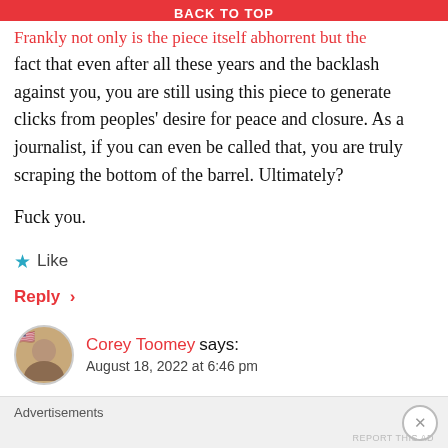BACK TO TOP
Frankly not only is the piece itself abhorrent but the fact that even after all these years and the backlash against you, you are still using this piece to generate clicks from peoples' desire for peace and closure. As a journalist, if you can even be called that, you are truly scraping the bottom of the barrel. Ultimately?
Fuck you.
★ Like
Reply ›
Corey Toomey says:
August 18, 2022 at 6:46 pm
Advertisements